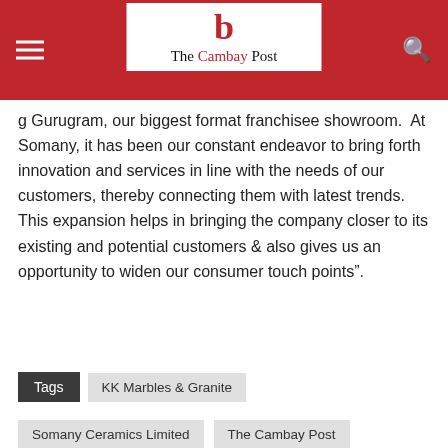The Cambay Post
Gurugram, our biggest format franchisee showroom. At Somany, it has been our constant endeavor to bring forth innovation and services in line with the needs of our customers, thereby connecting them with latest trends. This expansion helps in bringing the company closer to its existing and potential customers & also gives us an opportunity to widen our consumer touch points”.
Tags: KK Marbles & Granite
Somany Ceramics Limited
The Cambay Post
Facebook  Twitter  WhatsApp  Reddit